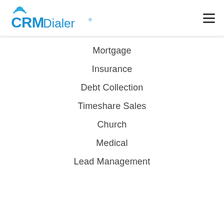CRM Dialer
Mortgage
Insurance
Debt Collection
Timeshare Sales
Church
Medical
Lead Management